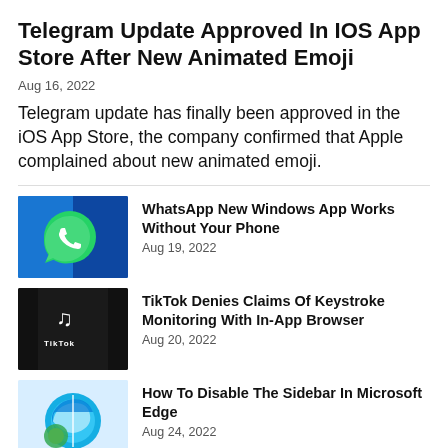Telegram Update Approved In IOS App Store After New Animated Emoji
Aug 16, 2022
Telegram update has finally been approved in the iOS App Store, the company confirmed that Apple complained about new animated emoji.
[Figure (photo): WhatsApp logo on a blue Windows background]
WhatsApp New Windows App Works Without Your Phone
Aug 19, 2022
[Figure (photo): TikTok app on a black background]
TikTok Denies Claims Of Keystroke Monitoring With In-App Browser
Aug 20, 2022
[Figure (photo): Microsoft Edge logo on a light blue background]
How To Disable The Sidebar In Microsoft Edge
Aug 24, 2022